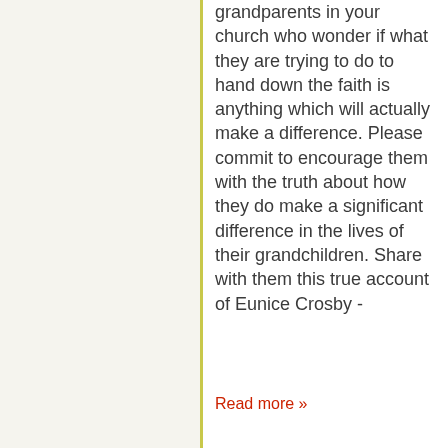grandparents in your church who wonder if what they are trying to do to hand down the faith is anything which will actually make a difference. Please commit to encourage them with the truth about how they do make a significant difference in the lives of their grandchildren. Share with them this true account of Eunice Crosby -
Read more »